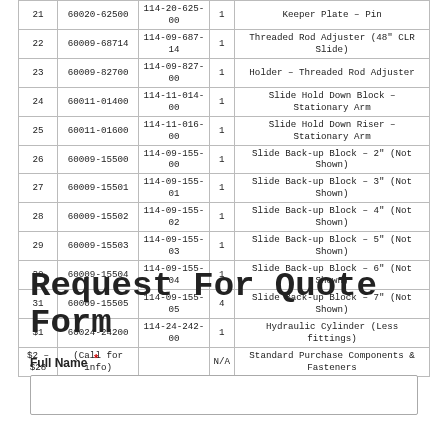| Item | Part No. | Drawing No. | Qty | Description |
| --- | --- | --- | --- | --- |
| 21 | 60020-62500 | 114-20-625-00 | 1 | Keeper Plate – Pin |
| 22 | 60009-68714 | 114-09-687-14 | 1 | Threaded Rod Adjuster (48" CLR Slide) |
| 23 | 60009-82700 | 114-09-827-00 | 1 | Holder – Threaded Rod Adjuster |
| 24 | 60011-01400 | 114-11-014-00 | 1 | Slide Hold Down Block – Stationary Arm |
| 25 | 60011-01600 | 114-11-016-00 | 1 | Slide Hold Down Riser – Stationary Arm |
| 26 | 60009-15500 | 114-09-155-00 | 1 | Slide Back-up Block – 2" (Not Shown) |
| 27 | 60009-15501 | 114-09-155-01 | 1 | Slide Back-up Block – 3" (Not Shown) |
| 28 | 60009-15502 | 114-09-155-02 | 1 | Slide Back-up Block – 4" (Not Shown) |
| 29 | 60009-15503 | 114-09-155-03 | 1 | Slide Back-up Block – 5" (Not Shown) |
| 30 | 60009-15504 | 114-09-155-04 | 1 | Slide Back-up Block – 6" (Not Shown) |
| 31 | 60009-15505 | 114-09-155-05 | 4 | Slide Back-up Block – 7" (Not Shown) |
| $1 | 60024-24200 | 114-24-242-00 | 1 | Hydraulic Cylinder (Less fittings) |
| $2 – $28 | (Call for info) |  | N/A | Standard Purchase Components & Fasteners |
Request For Quote Form
Full Name *